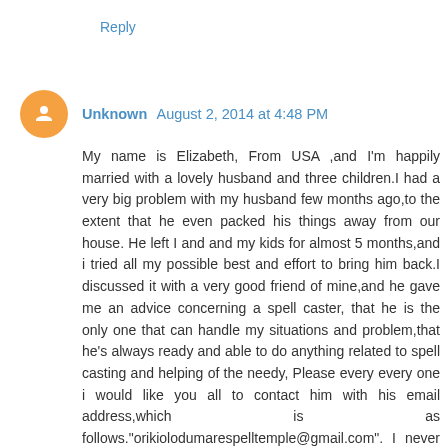Reply
Unknown August 2, 2014 at 4:48 PM
My name is Elizabeth, From USA ,and I'm happily married with a lovely husband and three children.I had a very big problem with my husband few months ago,to the extent that he even packed his things away from our house. He left I and and my kids for almost 5 months,and i tried all my possible best and effort to bring him back.I discussed it with a very good friend of mine,and he gave me an advice concerning a spell caster, that he is the only one that can handle my situations and problem,that he's always ready and able to do anything related to spell casting and helping of the needy, Please every every one i would like you all to contact him with his email address,which is as follows."orikiolodumarespelltemple@gmail.com". I never believed in spell casting,but My friend convinced me and i had no choice than to follow my friend advice,because i never dreamed of loosing my lovely Husband. And i contacted him with his email address,and i discussed with